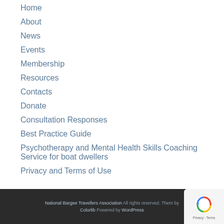Home
About
News
Events
Membership
Resources
Contacts
Donate
Consultation Responses
Best Practice Guide
Psychotherapy and Mental Health Skills Coaching Service for boat dwellers
Privacy and Terms of Use
National Bargee Travellers Association All rights reserved. Theme by Colorlib Powered by WordPress